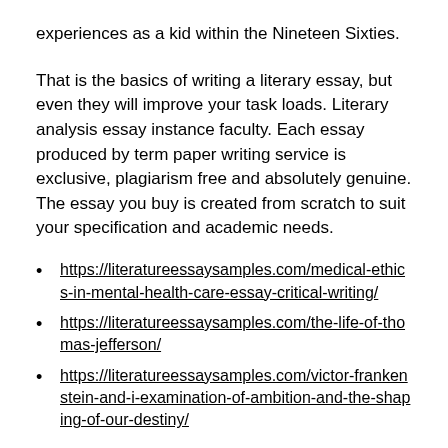experiences as a kid within the Nineteen Sixties.
That is the basics of writing a literary essay, but even they will improve your task loads. Literary analysis essay instance faculty. Each essay produced by term paper writing service is exclusive, plagiarism free and absolutely genuine. The essay you buy is created from scratch to suit your specification and academic needs.
https://literatureessaysamples.com/medical-ethics-in-mental-health-care-essay-critical-writing/
https://literatureessaysamples.com/the-life-of-thomas-jefferson/
https://literatureessaysamples.com/victor-frankenstein-and-i-examination-of-ambition-and-the-shaping-of-our-destiny/